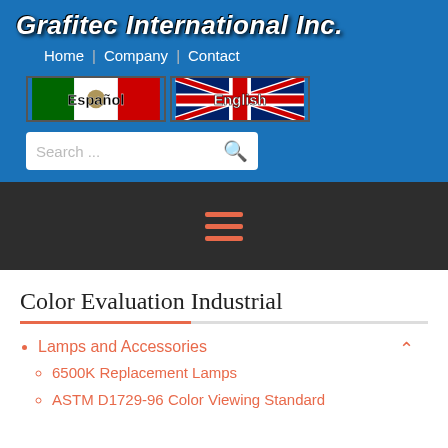Grafitec International Inc.
Home | Company | Contact
[Figure (screenshot): Language selection buttons: Español (Mexican flag) and English (UK flag)]
[Figure (screenshot): Search bar with search icon]
[Figure (screenshot): Dark navigation bar with hamburger menu icon (three horizontal lines in orange/red)]
Color Evaluation Industrial
Lamps and Accessories
6500K Replacement Lamps
ASTM D1729-96 Color Viewing Standard